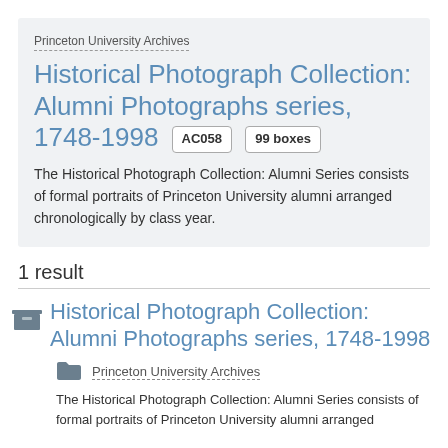Princeton University Archives
Historical Photograph Collection: Alumni Photographs series, 1748-1998  AC058  99 boxes
The Historical Photograph Collection: Alumni Series consists of formal portraits of Princeton University alumni arranged chronologically by class year.
1 result
Historical Photograph Collection: Alumni Photographs series, 1748-1998
Princeton University Archives
The Historical Photograph Collection: Alumni Series consists of formal portraits of Princeton University alumni arranged